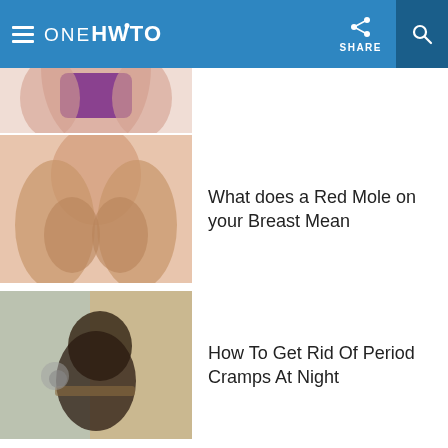OneHowTo
[Figure (photo): Partial image of a person in a purple top, torso area visible]
[Figure (photo): Person crossing arms over chest, skin-colored background]
What does a Red Mole on your Breast Mean
[Figure (photo): Person sitting hunched over with knees drawn up, window in background]
How To Get Rid Of Period Cramps At Night
Most read
1. Causes of Pain in Right Side of your Stomach